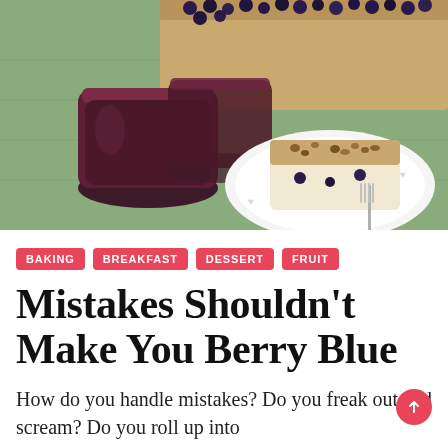[Figure (photo): Jars of blueberry jam/sauce next to a slice of blueberry coffee cake on a plate with a fork, a box of fresh blueberries in the background, on a green cloth]
BAKING
BREAKFAST
DESSERT
FRUIT
Mistakes Shouldn't Make You Berry Blue
How do you handle mistakes? Do you freak out and scream?  Do you roll up into